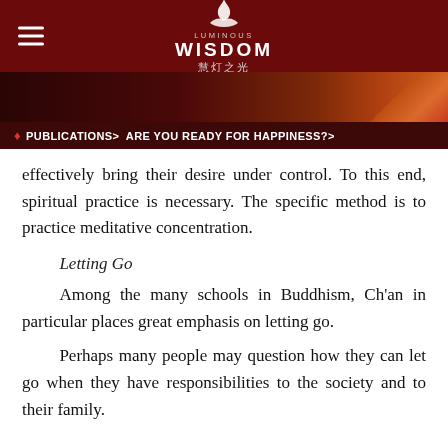LUMINOUS WISDOM 慧灯之光
PUBLICATIONS > ARE YOU READY FOR HAPPINESS? >
effectively bring their desire under control. To this end, spiritual practice is necessary. The specific method is to practice meditative concentration.
Letting Go
Among the many schools in Buddhism, Ch'an in particular places great emphasis on letting go.
Perhaps many people may question how they can let go when they have responsibilities to the society and to their family.